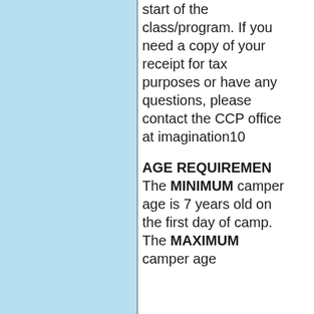start of the class/program. If you need a copy of your receipt for tax purposes or have any questions, please contact the CCP office at imagination10
AGE REQUIREMENTS
The MINIMUM camper age is 7 years old on the first day of camp.  The MAXIMUM camper age